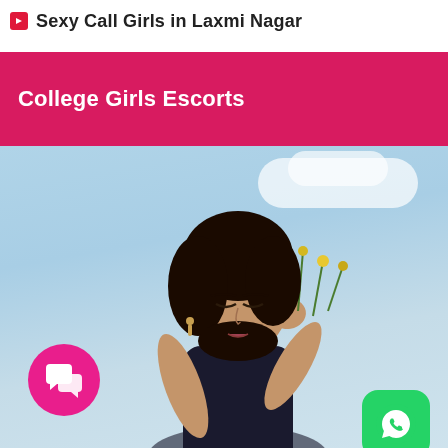Sexy Call Girls in Laxmi Nagar
College Girls Escorts
[Figure (photo): Young woman with curly dark hair holding yellow wildflowers on her head, looking upward with eyes closed, against a blue sky background. Pink chat bubble icon in bottom-left corner, green WhatsApp icon in bottom-right corner.]